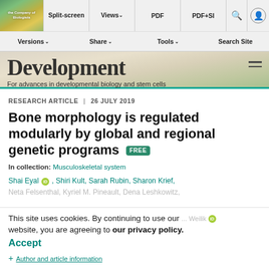Split-screen | Views | PDF | PDF+SI | Versions | Share | Tools | Search Site
[Figure (logo): The Company of Biologists logo with globe graphic]
Development — For advances in developmental biology and stem cells
RESEARCH ARTICLE | 26 JULY 2019
Bone morphology is regulated modularly by global and regional genetic programs FREE
In collection: Musculoskeletal system
Shai Eyal, Shiri Kult, Sarah Rubin, Sharon Krief, Neta Felsenthal, Kyriel M. Pineault, Dena Leshkowitz, Weilik
This site uses cookies. By continuing to use our website, you are agreeing to our privacy policy.
Accept
+ Author and article information